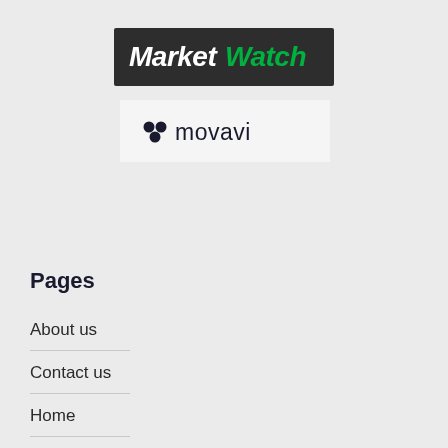[Figure (logo): MarketWatch logo — white bold italic 'Market' and green bold 'Watch' text on dark charcoal background]
[Figure (logo): Movavi logo — three dark dots in a triangular cluster followed by 'movavi' text in dark sans-serif on light background]
Pages
About us
Contact us
Home
Privacy Policy